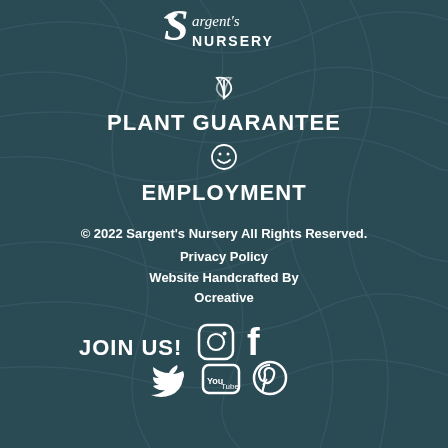[Figure (logo): Sargent's Nursery logo with stylized S and leaf icon, white text on dark teal background]
[Figure (illustration): Small leaf/plant icon above PLANT GUARANTEE text]
PLANT GUARANTEE
[Figure (illustration): Small smiley face icon above EMPLOYMENT text]
EMPLOYMENT
© 2022 Sargent's Nursery All Rights Reserved.
Privacy Policy
Website Handcrafted By Ocreative
JOIN US!
[Figure (illustration): Social media icons: Instagram, Facebook, Twitter, YouTube, Pinterest]